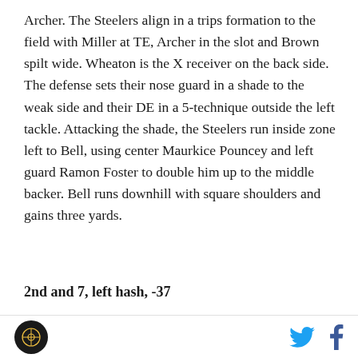Archer. The Steelers align in a trips formation to the field with Miller at TE, Archer in the slot and Brown spilt wide. Wheaton is the X receiver on the back side. The defense sets their nose guard in a shade to the weak side and their DE in a 5-technique outside the left tackle. Attacking the shade, the Steelers run inside zone left to Bell, using center Maurkice Pouncey and left guard Ramon Foster to double him up to the middle backer. Bell runs downhill with square shoulders and gains three yards.
2nd and 7, left hash, -37
Haley has gotten a look at how the defense will align to trips so the Steelers come back with the same
logo and social icons